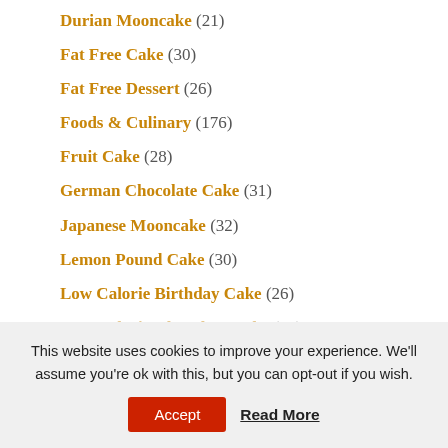Durian Mooncake (21)
Fat Free Cake (30)
Fat Free Dessert (26)
Foods & Culinary (176)
Fruit Cake (28)
German Chocolate Cake (31)
Japanese Mooncake (32)
Lemon Pound Cake (30)
Low Calorie Birthday Cake (26)
This website uses cookies to improve your experience. We'll assume you're ok with this, but you can opt-out if you wish.
Accept | Read More